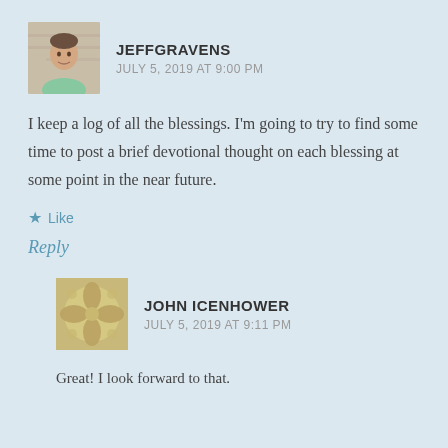[Figure (photo): Profile photo of JeffGravens, a man in a green polo shirt against a brick wall background]
JEFFGRAVENS
JULY 5, 2019 AT 9:00 PM
I keep a log of all the blessings. I'm going to try to find some time to post a brief devotional thought on each blessing at some point in the near future.
★ Like
Reply
[Figure (illustration): Default avatar icon with decorative pattern for John Icenhower]
JOHN ICENHOWER
JULY 5, 2019 AT 9:11 PM
Great! I look forward to that.